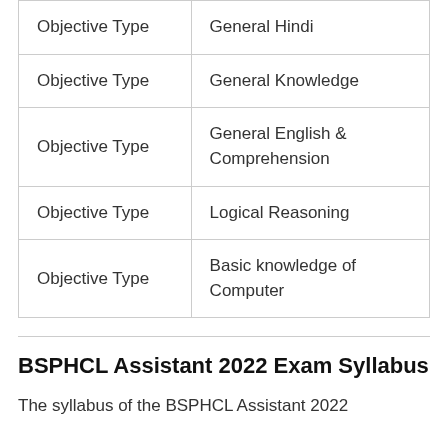| Objective Type | General Hindi |
| Objective Type | General Knowledge |
| Objective Type | General English & Comprehension |
| Objective Type | Logical Reasoning |
| Objective Type | Basic knowledge of Computer |
BSPHCL Assistant 2022 Exam Syllabus
The syllabus of the BSPHCL Assistant 2022